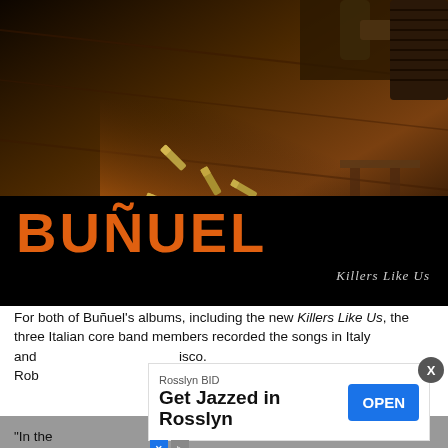[Figure (photo): Dark moody photo of bullet casings scattered on a wooden surface with a gun visible in the upper right corner and warm orange lighting]
BUÑUEL
Killers Like Us
For both of Buñuel's albums, including the new Killers Like Us, the three Italian core band members recorded the songs in Italy and back to Italy
[Figure (other): Advertisement overlay: Rosslyn BID — Get Jazzed in Rosslyn — OPEN button]
"In the beginning, soon after the flood system that